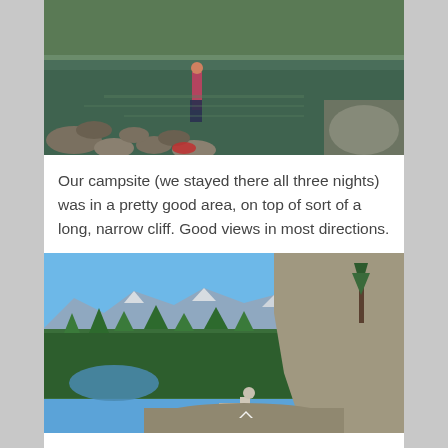[Figure (photo): Person standing on rocky shoreline next to a mountain lake with reflections of rocks and greenery in calm water. Person wearing pink/red top and dark pants, with red gear on the rocks nearby.]
Our campsite (we stayed there all three nights) was in a pretty good area, on top of sort of a long, narrow cliff. Good views in most directions.
[Figure (photo): Panoramic view from a rocky cliff overlooking a vast forested valley with a small alpine lake visible below on the left, mountain ranges with snow in the background under a bright blue sky. A dog (appears to be a border collie or similar) is sitting on the rocky ledge in the foreground.]